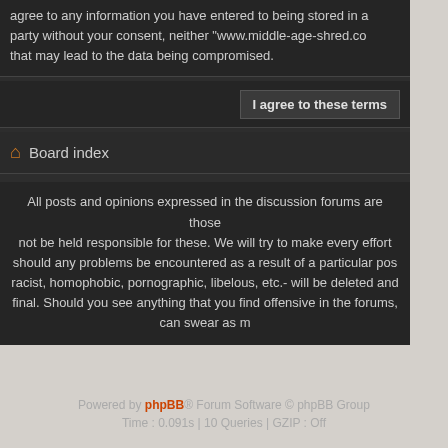agree to any information you have entered to being stored in a party without your consent, neither "www.middle-age-shred.co that may lead to the data being compromised.
I agree to these terms
Board index
All posts and opinions expressed in the discussion forums are those not be held responsible for these. We will try to make every effort should any problems be encountered as a result of a particular pos racist, homophobic, pornographic, libelous, etc.- will be deleted and final. Should you see anything that you find offensive in the forums, can swear as m
Powered by phpBB® Forum Software © phpBB Group
Time : 0.091s | 10 Queries | GZIP : Off